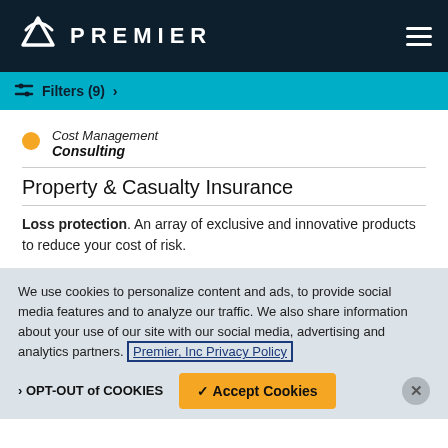PREMIER
Filters (9) >
Cost Management
Consulting
Property & Casualty Insurance
Loss protection. An array of exclusive and innovative products to reduce your cost of risk.
We use cookies to personalize content and ads, to provide social media features and to analyze our traffic. We also share information about your use of our site with our social media, advertising and analytics partners. Premier, Inc Privacy Policy
> OPT-OUT of COOKIES
✓ Accept Cookies